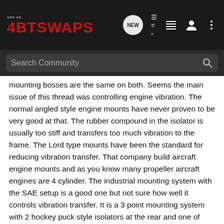4BTSWAPS
mounting bosses are the same on both. Seems the main issue of this thread was controlling engine vibration. The normal angled style engine mounts have never proven to be very good at that. The rubber compound in the isolator is usually too stiff and transfers too much vibration to the frame. The Lord type mounts have been the standard for reducing vibration transfer. That company build aircraft engine mounts and as you know many propeller aircraft engines are 4 cylinder. The industrial mounting system with the SAE setup is a good one but not sure how well it controls vibration transfer. It is a 3 point mounting system with 2 hockey puck style isolators at the rear and one of possibly several types up front. Would need an engine/transmission set up in a lab to test each type of mount and see what degree of reduction they provide. Since the 3 point mounts were used in applications like generators I